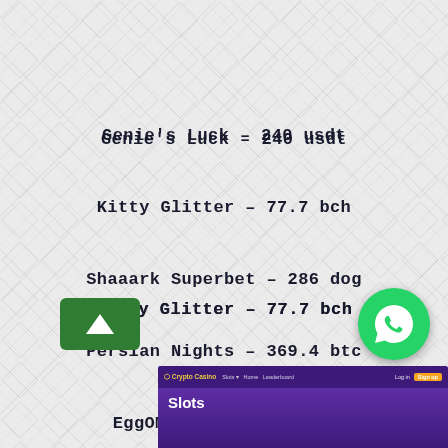Genie's Luck – 240 usdt
Kitty Glitter – 77.7 bch
Shaaark Superbet – 286 dog
Persian Nights – 369.4 btc
EggOMatic – 634.7 dog
[Figure (screenshot): Screenshot of Crypto Casino website showing Slots page with purple header navigation bar]